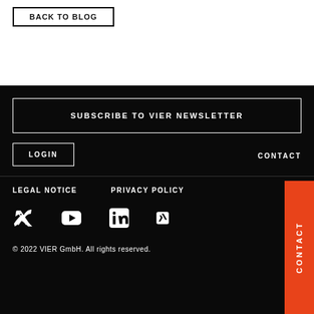BACK TO BLOG
SUBSCRIBE TO VIER NEWSLETTER
LOGIN
CONTACT
LEGAL NOTICE   PRIVACY POLICY
[Figure (illustration): Social media icons: Twitter, YouTube, LinkedIn, Xing]
© 2022 VIER GmbH. All rights reserved.
CONTACT